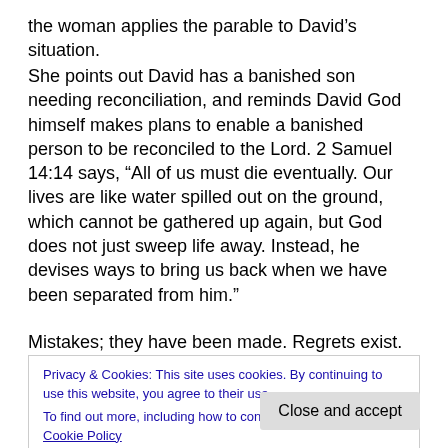the woman applies the parable to David's situation.
She points out David has a banished son needing reconciliation, and reminds David God himself makes plans to enable a banished person to be reconciled to the Lord. 2 Samuel 14:14 says, “All of us must die eventually. Our lives are like water spilled out on the ground, which cannot be gathered up again, but God does not just sweep life away. Instead, he devises ways to bring us back when we have been separated from him.”
Mistakes; they have been made. Regrets exist. The list of t h
Privacy & Cookies: This site uses cookies. By continuing to use this website, you agree to their use. To find out more, including how to control cookies, see here: Cookie Policy
Close and accept
restore us to the family.